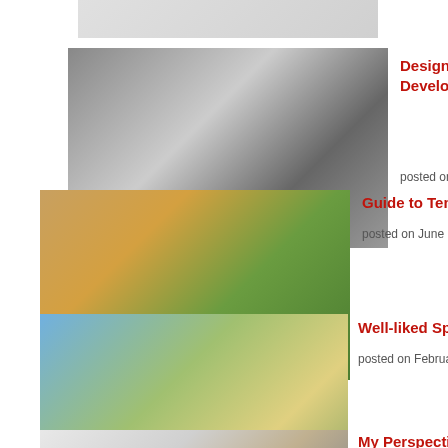[Figure (photo): Partial image at top of page, cropped]
[Figure (photo): Collection of men's sports watches]
Design Watches – Superbly Developed Men's Sports Watches
posted on February 24, 2021
[Figure (photo): Hand holding tennis racket and ball]
Guide to Tennis Rackets
posted on June 24, 2020
[Figure (photo): Collage of Australian sports - soccer and water jetpack]
Well-liked Sports in Australia
posted on February 17, 2021
[Figure (photo): Person in taekwondo outfit, child with wings]
My Perspective on Being Overweight and Overage in